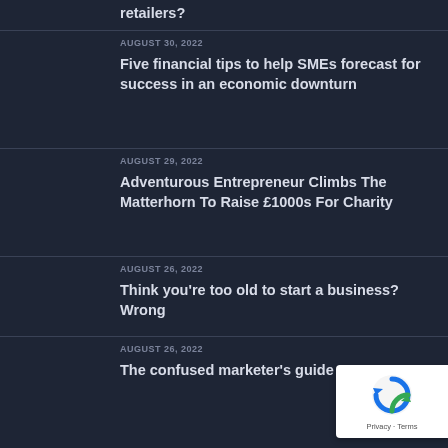retailers?
AUGUST 30, 2022
Five financial tips to help SMEs forecast for success in an economic downturn
AUGUST 29, 2022
Adventurous Entrepreneur Climbs The Matterhorn To Raise £1000s For Charity
AUGUST 26, 2022
Think you're too old to start a business? Wrong
AUGUST 26, 2022
The confused marketer's guide to GA4
[Figure (other): reCAPTCHA badge with Privacy and Terms links]